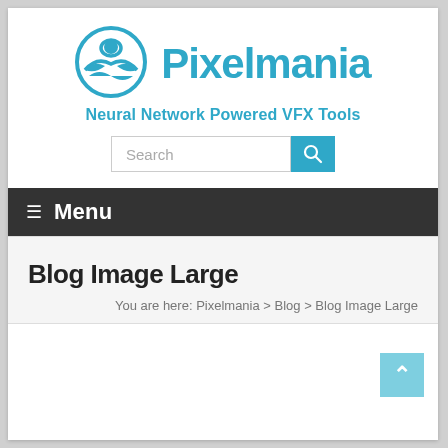[Figure (logo): Pixelmania circular logo with stylized figure and wave design in teal/blue color]
Pixelmania
Neural Network Powered VFX Tools
Search
≡ Menu
Blog Image Large
You are here: Pixelmania > Blog > Blog Image Large